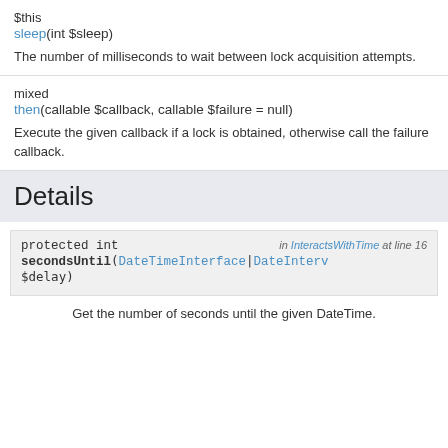$this
sleep(int $sleep)
The number of milliseconds to wait between lock acquisition attempts.
mixed
then(callable $callback, callable $failure = null)
Execute the given callback if a lock is obtained, otherwise call the failure callback.
Details
protected int
secondsUntil(DateTimeInterface|DateInterval $delay)
in InteractsWithTime at line 16
Get the number of seconds until the given DateTime.